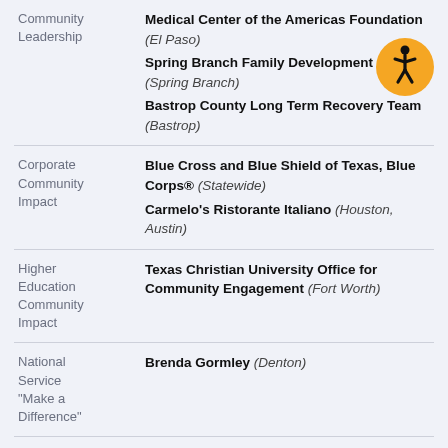| Category | Organization |
| --- | --- |
| Community Leadership | Medical Center of the Americas Foundation (El Paso)
Spring Branch Family Development Center (Spring Branch)
Bastrop County Long Term Recovery Team (Bastrop) |
| Corporate Community Impact | Blue Cross and Blue Shield of Texas, Blue Corps® (Statewide)
Carmelo's Ristorante Italiano (Houston, Austin) |
| Higher Education Community Impact | Texas Christian University Office for Community Engagement (Fort Worth) |
| National Service "Make a Difference" | Brenda Gormley (Denton) |
[Figure (illustration): Orange circle with black accessibility icon (wheelchair/person symbol) - accessibility badge]